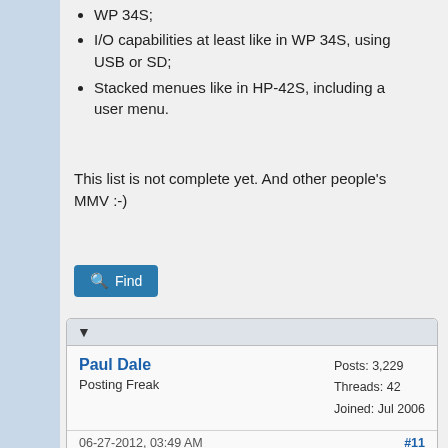WP 34S;
I/O capabilities at least like in WP 34S, using USB or SD;
Stacked menues like in HP-42S, including a user menu.
This list is not complete yet. And other people's MMV :-)
Find
▼
Paul Dale
Posting Freak
Posts: 3,229
Threads: 42
Joined: Jul 2006
06-27-2012, 03:49 AM
#11
There are a few random ideas out there already.

I'd be aiming for unlimited stack, not just four or eight levels.

Pauli
Pauli